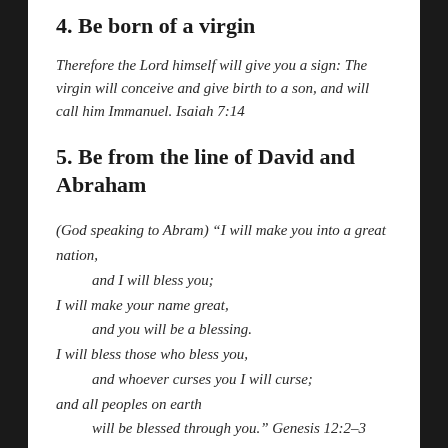4. Be born of a virgin
Therefore the Lord himself will give you a sign: The virgin will conceive and give birth to a son, and will call him Immanuel. Isaiah 7:14
5. Be from the line of David and Abraham
(God speaking to Abram) “I will make you into a great nation,
    and I will bless you;
I will make your name great,
    and you will be a blessing.
I will bless those who bless you,
    and whoever curses you I will curse;
and all peoples on earth
    will be blessed through you.” Genesis 12:2–3